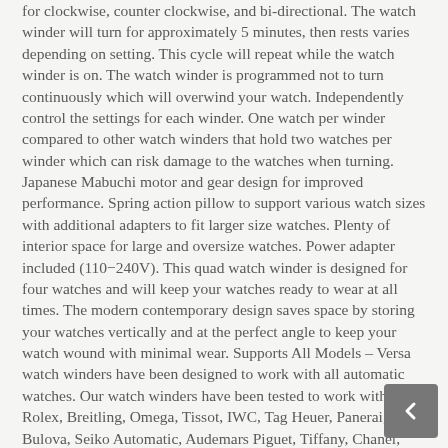for clockwise, counter clockwise, and bi-directional. The watch winder will turn for approximately 5 minutes, then rests varies depending on setting. This cycle will repeat while the watch winder is on. The watch winder is programmed not to turn continuously which will overwind your watch. Independently control the settings for each winder. One watch per winder compared to other watch winders that hold two watches per winder which can risk damage to the watches when turning. Japanese Mabuchi motor and gear design for improved performance. Spring action pillow to support various watch sizes with additional adapters to fit larger size watches. Plenty of interior space for large and oversize watches. Power adapter included (110-240V). This quad watch winder is designed for four watches and will keep your watches ready to wear at all times. The modern contemporary design saves space by storing your watches vertically and at the perfect angle to keep your watch wound with minimal wear. Supports All Models – Versa watch winders have been designed to work with all automatic watches. Our watch winders have been tested to work with Rolex, Breitling, Omega, Tissot, IWC, Tag Heuer, Panerai, Bulova, Seiko Automatic, Audemars Piguet, Tiffany, Chanel, Bulgari, Vacheron Constantin, Patek Philippe, Blancpain, Chopard, Ulysse Nardin, Jaeger-LeCoultre, Cartier, Paget, B...